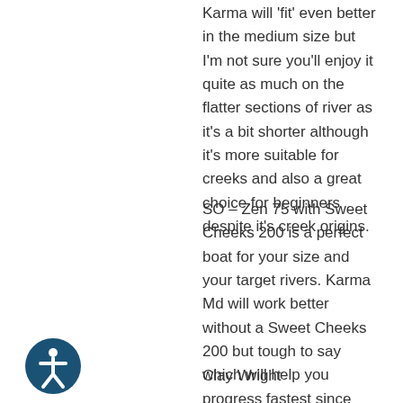Karma will 'fit' even better in the medium size but I'm not sure you'll enjoy it quite as much on the flatter sections of river as it's a bit shorter although it's more suitable for creeks and also a great choice for beginners despite it's creek origins.
SO – Zen 75 with Sweet Cheeks 200 is a perfect boat for your size and your target rivers. Karma Md will work better without a Sweet Cheeks 200 but tough to say which will help you progress fastest since both are great choices. I would go Zen since it's higher volume rivers and you might want to do some surfing and flatwater. Good Luck!
Clay Wright